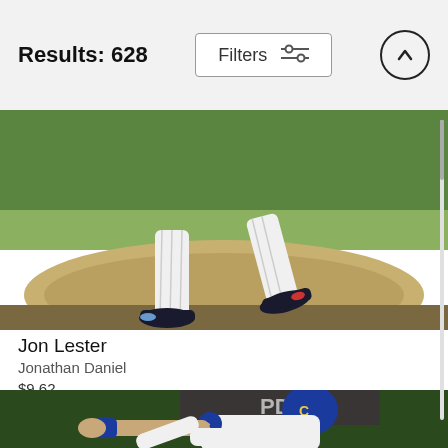Results: 628
[Figure (photo): Baseball pitcher legs on mound, Chicago Cubs pinstripe uniform, pitching motion, green grass background]
Jon Lester
Jonathan Daniel
$9.62
[Figure (photo): Chicago Cubs baseball player diving toward base, blue helmet with C logo, pinstripe uniform, Cubs logo on sleeve, green field background with PDU signage]